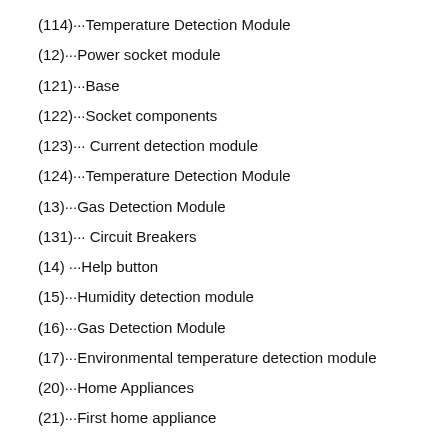(114)···Temperature Detection Module
(12)···Power socket module
(121)···Base
(122)···Socket components
(123)··· Current detection module
(124)···Temperature Detection Module
(13)···Gas Detection Module
(131)··· Circuit Breakers
(14) ···Help button
(15)···Humidity detection module
(16)···Gas Detection Module
(17)···Environmental temperature detection module
(20)···Home Appliances
(21)···First home appliance